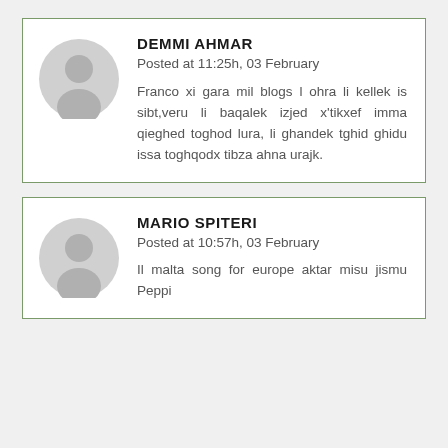[Figure (illustration): Gray avatar silhouette icon of a person]
DEMMI AHMAR
Posted at 11:25h, 03 February
Franco xi gara mil blogs l ohra li kellek is sibt,veru li baqalek izjed x'tikxef imma qieghed toghod lura, li ghandek tghid ghidu issa toghqodx tibza ahna urajk.
[Figure (illustration): Gray avatar silhouette icon of a person]
MARIO SPITERI
Posted at 10:57h, 03 February
Il malta song for europe aktar misu jismu Peppi